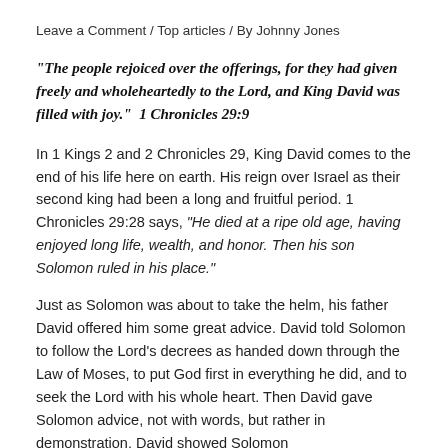Leave a Comment / Top articles / By Johnny Jones
“The people rejoiced over the offerings, for they had given freely and wholeheartedly to the Lord, and King David was filled with joy.”  1 Chronicles 29:9
In 1 Kings 2 and 2 Chronicles 29, King David comes to the end of his life here on earth. His reign over Israel as their second king had been a long and fruitful period. 1 Chronicles 29:28 says, “He died at a ripe old age, having enjoyed long life, wealth, and honor. Then his son Solomon ruled in his place.”
Just as Solomon was about to take the helm, his father David offered him some great advice. David told Solomon to follow the Lord’s decrees as handed down through the Law of Moses, to put God first in everything he did, and to seek the Lord with his whole heart. Then David gave Solomon advice, not with words, but rather in demonstration. David showed Solomon